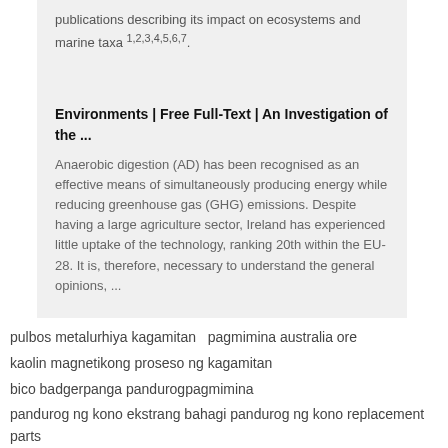publications describing its impact on ecosystems and marine taxa 1,2,3,4,5,6,7.
Environments | Free Full-Text | An Investigation of the ...
Anaerobic digestion (AD) has been recognised as an effective means of simultaneously producing energy while reducing greenhouse gas (GHG) emissions. Despite having a large agriculture sector, Ireland has experienced little uptake of the technology, ranking 20th within the EU-28. It is, therefore, necessary to understand the general opinions, ...
pulbos metalurhiya kagamitan   pagmimina australia ore
kaolin magnetikong proseso ng kagamitan
bico badgerpanga pandurogpagmimina
pandurog ng kono ekstrang bahagi pandurog ng kono replacement parts